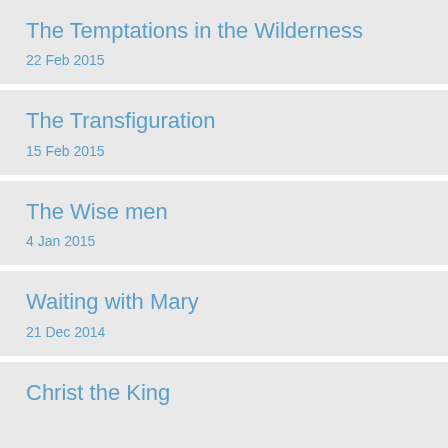The Temptations in the Wilderness
22 Feb 2015
The Transfiguration
15 Feb 2015
The Wise men
4 Jan 2015
Waiting with Mary
21 Dec 2014
Christ the King